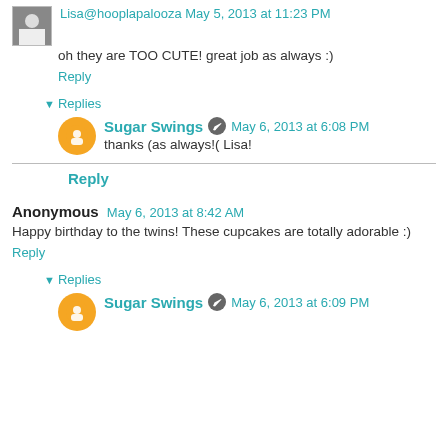Lisa@hooplapalooza May 5, 2013 at 11:23 PM
oh they are TOO CUTE! great job as always :)
Reply
Replies
Sugar Swings  May 6, 2013 at 6:08 PM
thanks (as always!( Lisa!
Reply
Anonymous May 6, 2013 at 8:42 AM
Happy birthday to the twins! These cupcakes are totally adorable :)
Reply
Replies
Sugar Swings  May 6, 2013 at 6:09 PM